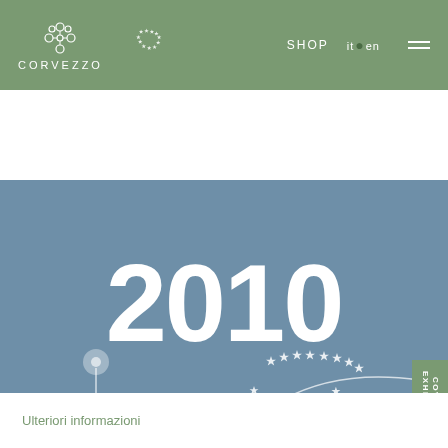CORVEZZO | SHOP | it • en
[Figure (screenshot): Corvezzo winery website screenshot showing a green navigation bar with the Corvezzo logo (floral/cross motif), EU organic stars logo, SHOP link, language switcher (it•en), and hamburger menu. Below is a steel-blue banner section with '2010' in large white bold text, a dandelion illustration, EU stars arc graphic, a green side tab reading 'COVERZZO EXHIBITIONS', and below the banner the text 'Ulteriori informazioni' in muted green.]
Ulteriori informazioni